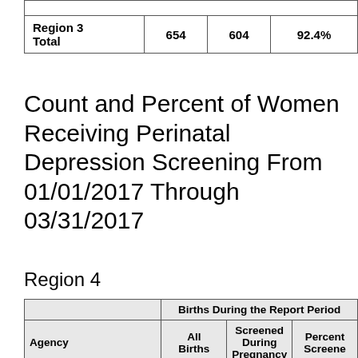|  | Births During the Report Period - All Births | Births During the Report Period - Screened During Pregnancy | Births During the Report Period - Percent Screened |
| --- | --- | --- | --- |
| Region 3 Total | 654 | 604 | 92.4% |
Count and Percent of Women Receiving Perinatal Depression Screening From 01/01/2017 Through 03/31/2017
Region 4
| Agency | All Births | Screened During Pregnancy | Percent Screened |
| --- | --- | --- | --- |